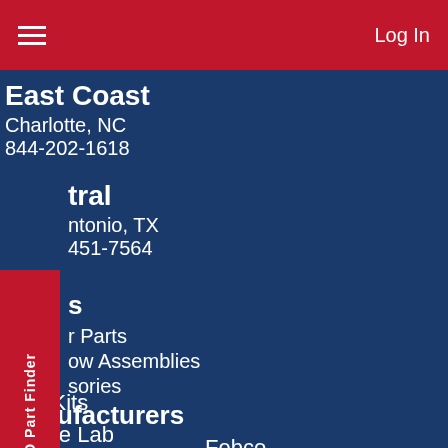Log In
East Coast
Charlotte, NC
844-202-1618
Central
San Antonio, TX
(210) 451-7564
Products
Repair Parts
Backflow Assemblies
Accessories
Test Kits
Gauge Lab
Manufacturers
Ames	Febco